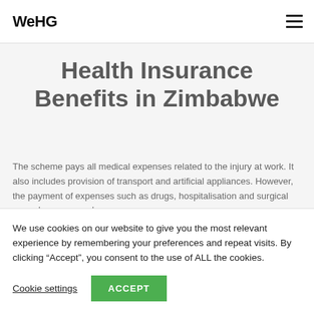WeHG
Health Insurance Benefits in Zimbabwe
The scheme pays all medical expenses related to the injury at work. It also includes provision of transport and artificial appliances. However, the payment of expenses such as drugs, hospitalisation and surgical procedures are made
We use cookies on our website to give you the most relevant experience by remembering your preferences and repeat visits. By clicking “Accept”, you consent to the use of ALL the cookies.
Cookie settings  ACCEPT